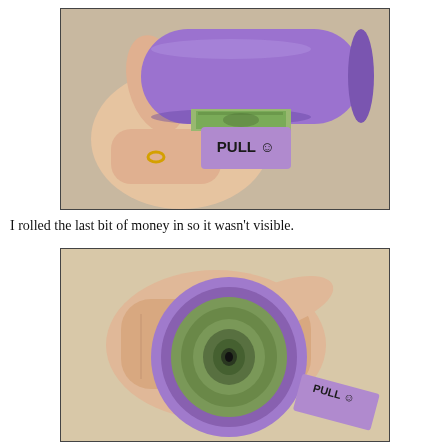[Figure (photo): A hand holding a purple cardboard tube with money tucked inside and a purple paper tab labeled 'PULL :)' visible at the bottom, photographed against a textured beige carpet background.]
I rolled the last bit of money in so it wasn't visible.
[Figure (photo): A hand holding a rolled-up purple paper from the front/end view, showing rolled dollar bills inside the tube and a purple paper tab labeled 'PULL :)' sticking out to the right, photographed against a light beige background.]